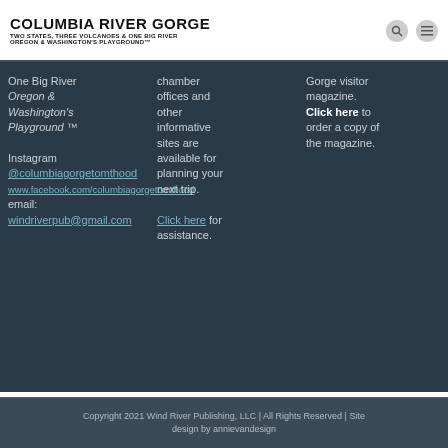COLUMBIA RIVER GORGE TWO STATES, THREE VOLCANOES & ONE BIG RIVER OREGON & WASHINGTON'S PLAYGROUND™
One Big River Oregon & Washington's Playground ™

Instagram
@columbiagorgetomthood
www.facebook.com/columbiagorgetomthood
email: windriverpub@gmail.com
chamber offices and other informative sites are available for planning your next trip. Click here for assistance.
Gorge visitor magazine. Click here to order a copy of the magazine.
Copyright 2021 Wind River Publishing, LLC | All Rights Reserved | Site design by annievandesign